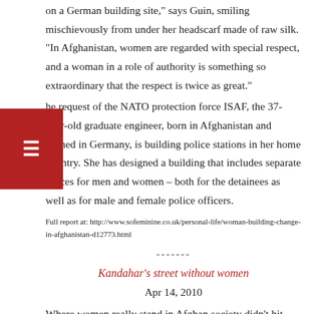on a German building site," says Guin, smiling mischievously from under her headscarf made of raw silk. "In Afghanistan, women are regarded with special respect, and a woman in a role of authority is something so extraordinary that the respect is twice as great." At the request of the NATO protection force ISAF, the 37-year-old graduate engineer, born in Afghanistan and trained in Germany, is building police stations in her home country. She has designed a building that includes separate spaces for men and women – both for the detainees as well as for male and female police officers.
Full report at: http://www.sofeminine.co.uk/personal-life/woman-building-change-in-afghanistan-d12773.html
-------
Kandahar's street without women
Apr 14, 2010
Where women really stand in Afghan society didn't hit home to me until I walked down a busy market street in Kandahar without seeing a